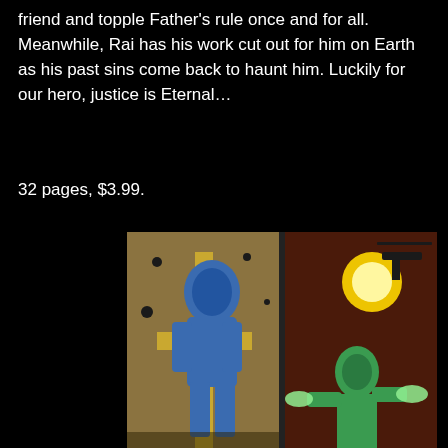friend and topple Father's rule once and for all. Meanwhile, Rai has his work cut out for him on Earth as his past sins come back to haunt him. Luckily for our hero, justice is Eternal…
32 pages, $3.99.
[Figure (illustration): Two comic book illustrations side by side: left shows a blue-armored character with gold sword against golden/dark background; right shows a character shooting energy blasts with helicopter in background]
X-O MANOWAR #41
[Figure (illustration): X-O Manowar #41 comic book cover showing X-O Manowar character in blue and gold armor flying, with Valiant logo and issue number 41]